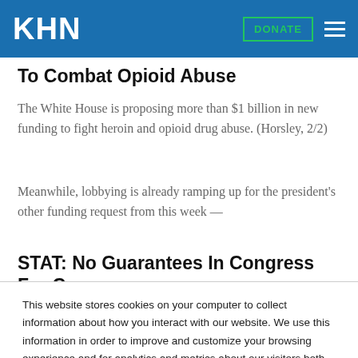KHN
To Combat Opioid Abuse
The White House is proposing more than $1 billion in new funding to fight heroin and opioid drug abuse. (Horsley, 2/2)
Meanwhile, lobbying is already ramping up for the president's other funding request from this week —
STAT: No Guarantees In Congress For Cancer
This website stores cookies on your computer to collect information about how you interact with our website. We use this information in order to improve and customize your browsing experience and for analytics and metrics about our visitors both on this website and other media. To find out more about the cookies we use, see our Privacy Policy.
Accept